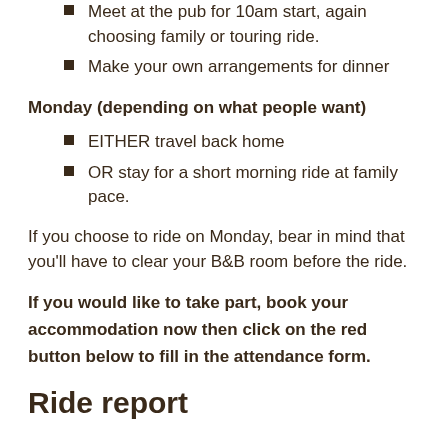Meet at the pub for 10am start, again choosing family or touring ride.
Make your own arrangements for dinner
Monday (depending on what people want)
EITHER travel back home
OR stay for a short morning ride at family pace.
If you choose to ride on Monday, bear in mind that you'll have to clear your B&B room before the ride.
If you would like to take part, book your accommodation now then click on the red button below to fill in the attendance form.
Ride report